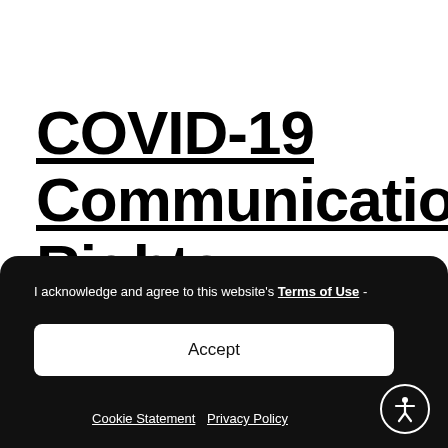COVID-19 Communication Rights Toolkit
I acknowledge and agree to this website's Terms of Use -
Accept
Cookie Statement   Privacy Policy